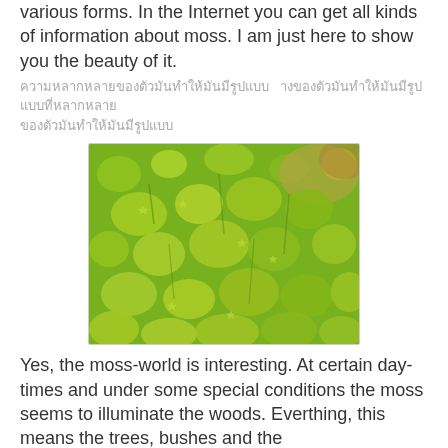various forms. In the Internet you can get all kinds of information about moss. I am just here to show you the beauty of it.
Thai text (decorative/non-Latin script placeholder)
[Figure (photo): Close-up photograph of bright green moss with star-shaped leaf clusters, showing dense coverage with some brownish areas in the upper right corner.]
Yes, the moss-world is interesting. At certain day-times and under some special conditions the moss seems to illuminate the woods. Everthing, this means the trees, bushes and the